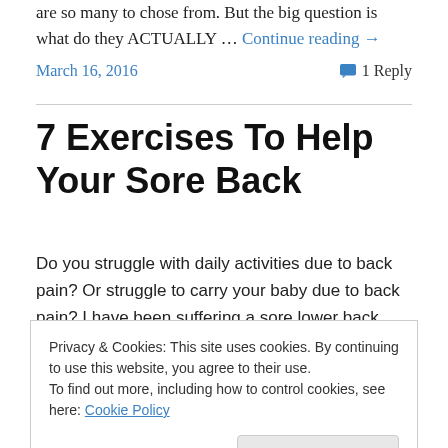are so many to chose from. But the big question is what do they ACTUALLY … Continue reading →
March 16, 2016    1 Reply
7 Exercises To Help Your Sore Back
Do you struggle with daily activities due to back pain? Or struggle to carry your baby due to back pain? I have been suffering a sore lower back since having my baby back in
Privacy & Cookies: This site uses cookies. By continuing to use this website, you agree to their use. To find out more, including how to control cookies, see here: Cookie Policy  Close and accept